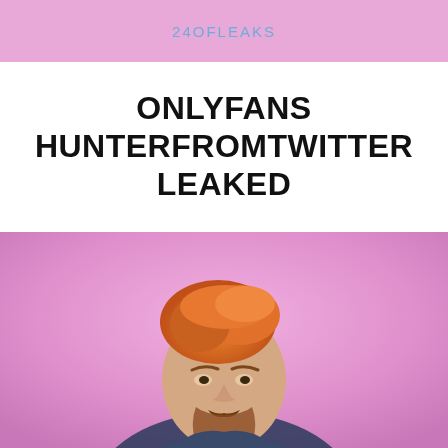24OFLEAKS
ONLYFANS HUNTERFROMTWITTER LEAKED
[Figure (photo): A young man with reddish-orange hair and a beard, photographed against a pink/lavender background, leaning forward slightly, wearing a dark shirt.]